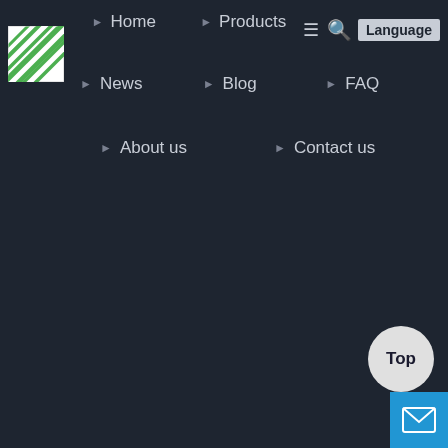[Figure (logo): Green and white striped logo square]
Home
Products
News
Blog
FAQ
About us
Contact us
[Figure (screenshot): Top button - white circle with 'Top' text]
[Figure (screenshot): Mail button - blue square with envelope icon]